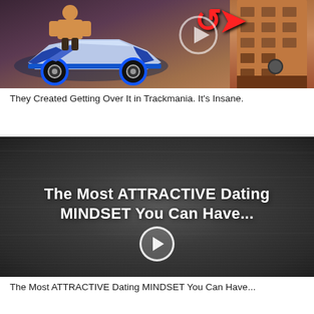[Figure (screenshot): Thumbnail for a video titled 'They Created Getting Over It in Trackmania. It's Insane.' showing a cartoon character on a futuristic car with red arrow/play icon and a tower structure on the right.]
They Created Getting Over It in Trackmania. It's Insane.
[Figure (screenshot): Dark chalkboard-style video thumbnail with bold white text reading 'The Most ATTRACTIVE Dating MINDSET You Can Have...' and a play button circle in the center.]
The Most ATTRACTIVE Dating MINDSET You Can Have...